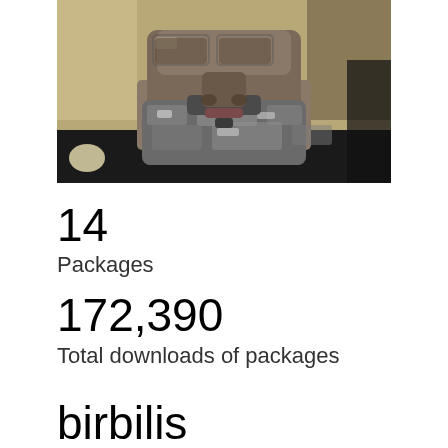[Figure (photo): Close-up photo of a man's face with a salt-and-pepper beard and stubble, wearing dark clothing, photographed from below the eyes down to the chin.]
14
Packages
172,390
Total downloads of packages
birbilis